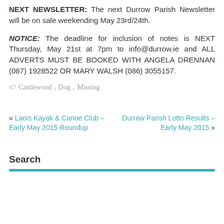NEXT NEWSLETTER: The next Durrow Parish Newsletter will be on sale weekending May 23rd/24th.
NOTICE: The deadline for inclusion of notes is NEXT Thursday, May 21st at 7pm to info@durrow.ie and ALL ADVERTS MUST BE BOOKED WITH ANGELA DRENNAN (087) 1928522 OR MARY WALSH (086) 3055157.
Castlewood, Dog, Missing
« Laois Kayak & Canoe Club – Early May 2015 Roundup
Durrow Parish Lotto Results – Early May 2015 »
Search